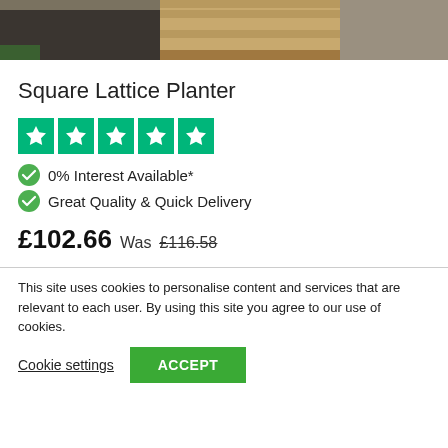[Figure (photo): Product photo showing a wooden square lattice planter box on gravel, with dark soil and greenery visible]
Square Lattice Planter
[Figure (other): Trustpilot 5-star rating displayed as five green star boxes]
0% Interest Available*
Great Quality & Quick Delivery
£102.66 Was £116.58
This site uses cookies to personalise content and services that are relevant to each user. By using this site you agree to our use of cookies.
Cookie settings   ACCEPT